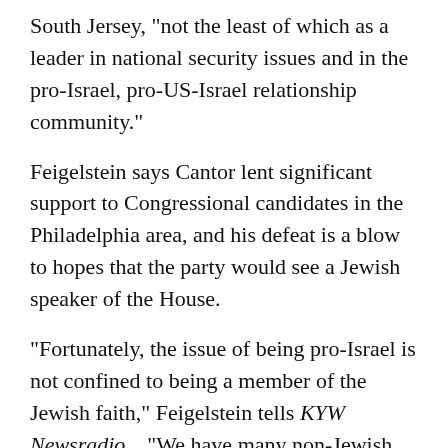South Jersey, "not the least of which as a leader in national security issues and in the pro-Israel, pro-US-Israel relationship community."
Feigelstein says Cantor lent significant support to Congressional candidates in the Philadelphia area, and his defeat is a blow to hopes that the party would see a Jewish speaker of the House.
"Fortunately, the issue of being pro-Israel is not confined to being a member of the Jewish faith," Feigelstein tells KYW Newsradio.   "We have many non-Jewish friends who are extremely supportive of a strong US-Israel relationship for many reasons -- because of a shared cultural affinity between the US and Israel, as well as geopolitical interests."
Former Democrat chairs in comments to be of...